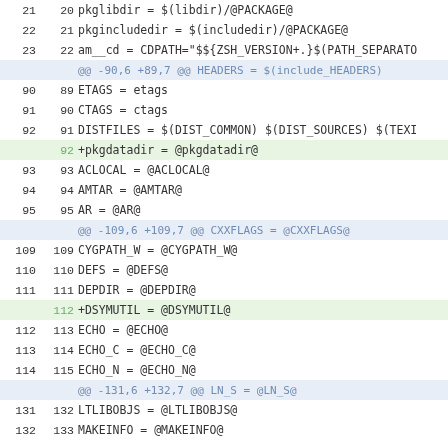Diff/patch view of a Makefile.in showing additions of pkgdatadir and DSYMUTIL lines
| old | new | code |
| --- | --- | --- |
| 21 | 20 |   pkglibdir = $(libdir)/@PACKAGE@ |
| 22 | 21 |   pkgincludedir = $(includedir)/@PACKAGE@ |
| 23 | 22 |   am__cd = CDPATH="$${ZSH_VERSION+.}$(PATH_SEPARATO |
|  |  | @@ -90,6 +89,7 @@ HEADERS = $(include_HEADERS) |
| 90 | 89 |   ETAGS = etags |
| 91 | 90 |   CTAGS = ctags |
| 92 | 91 |   DISTFILES = $(DIST_COMMON) $(DIST_SOURCES) $(TEXI |
|  | 92 | +pkgdatadir = @pkgdatadir@ |
| 93 | 93 |   ACLOCAL = @ACLOCAL@ |
| 94 | 94 |   AMTAR = @AMTAR@ |
| 95 | 95 |   AR = @AR@ |
|  |  | @@ -109,6 +109,7 @@ CXXFLAGS = @CXXFLAGS@ |
| 109 | 109 |   CYGPATH_W = @CYGPATH_W@ |
| 110 | 110 |   DEFS = @DEFS@ |
| 111 | 111 |   DEPDIR = @DEPDIR@ |
|  | 112 | +DSYMUTIL = @DSYMUTIL@ |
| 112 | 113 |   ECHO = @ECHO@ |
| 113 | 114 |   ECHO_C = @ECHO_C@ |
| 114 | 115 |   ECHO_N = @ECHO_N@ |
|  |  | @@ -131,6 +132,7 @@ LN_S = @LN_S@ |
| 131 | 132 |   LTLIBOBJS = @LTLIBOBJS@ |
| 132 | 133 |   MAKEINFO = @MAKEINFO@ |